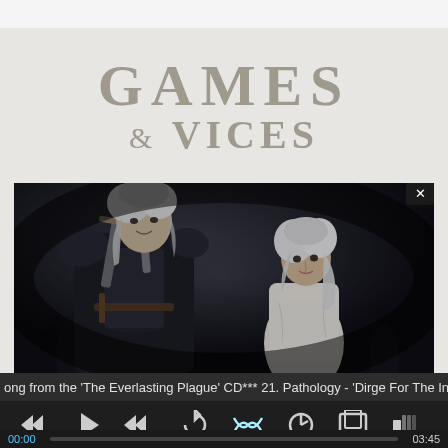[Figure (logo): Games & Vices logo text in large serif font, muted beige/tan color on light gray background]
[Figure (screenshot): Video game promotional image showing two characters from The Witcher 3 - Geralt with white hair and armor with swords on his back, and Ciri with white hair in a white dress, dark moody background with fog]
ong from the 'The Everlasting Plague' CD*** 21. Pathology - 'Dirge For The Infect
[Figure (screenshot): Media player controls bar with rewind, play, fast-forward, repeat, shuffle, clock, resize, and volume icons on dark background, with progress bar showing 00:00 to 03:45]